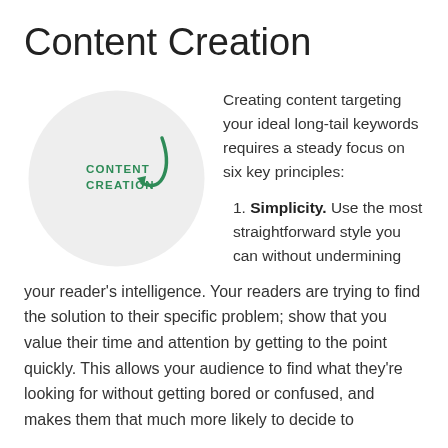Content Creation
[Figure (illustration): A light gray circle with the text 'CONTENT CREATION' in green bold uppercase letters on the left side inside the circle, and a green curved arrow pointing left toward the text, indicating a cyclical or focused concept.]
Creating content targeting your ideal long-tail keywords requires a steady focus on six key principles:
1. Simplicity. Use the most straightforward style you can without undermining your reader's intelligence. Your readers are trying to find the solution to their specific problem; show that you value their time and attention by getting to the point quickly. This allows your audience to find what they're looking for without getting bored or confused, and makes them that much more likely to decide to